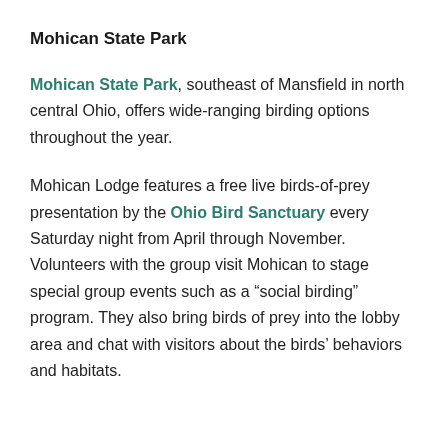Mohican State Park
Mohican State Park, southeast of Mansfield in north central Ohio, offers wide-ranging birding options throughout the year.
Mohican Lodge features a free live birds-of-prey presentation by the Ohio Bird Sanctuary every Saturday night from April through November. Volunteers with the group visit Mohican to stage special group events such as a “social birding” program. They also bring birds of prey into the lobby area and chat with visitors about the birds’ behaviors and habitats.